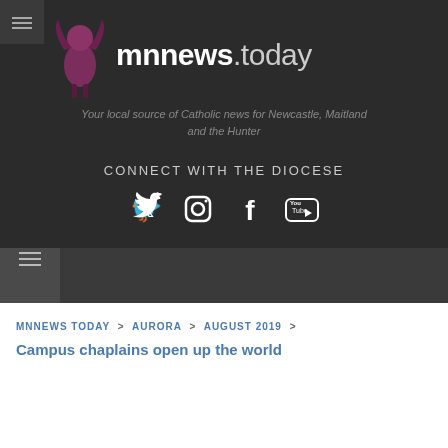[Figure (logo): mnnews.today logo with purple bird figure and bold white text]
Your local source of Catholic news for Newcastle, Maitland and the Hunter
CONNECT WITH THE DIOCESE
[Figure (infographic): Social media icons: Twitter, Instagram, Facebook, YouTube]
MNNEWS TODAY > AURORA > AUGUST 2019 > Campus chaplains open up the world